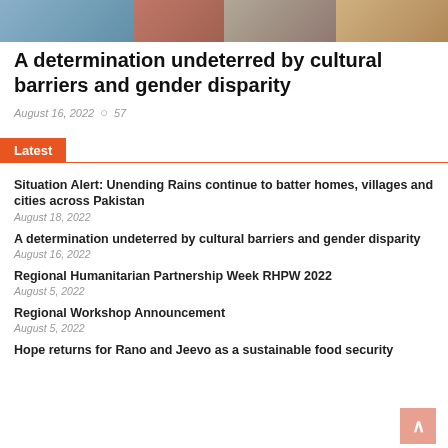[Figure (photo): Top banner image with multiple people, appears to be humanitarian/community context]
A determination undeterred by cultural barriers and gender disparity
August 16, 2022   👁 57
Latest
Situation Alert: Unending Rains continue to batter homes, villages and cities across Pakistan
August 18, 2022
A determination undeterred by cultural barriers and gender disparity
August 16, 2022
Regional Humanitarian Partnership Week RHPW 2022
August 5, 2022
Regional Workshop Announcement
August 5, 2022
Hope returns for Rano and Jeevo as a sustainable food security